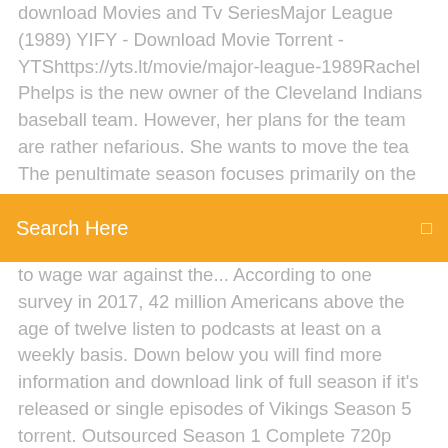download Movies and Tv SeriesMajor League (1989) YIFY - Download Movie Torrent - YTShttps://yts.lt/movie/major-league-1989Rachel Phelps is the new owner of the Cleveland Indians baseball team. However, her plans for the team are rather nefarious. She wants to move the tea The penultimate season focuses primarily on the convergence of the show's main
Search Here
to wage war against the... According to one survey in 2017, 42 million Americans above the age of twelve listen to podcasts at least on a weekly basis. Down below you will find more information and download link of full season if it's released or single episodes of Vikings Season 5 torrent. Outsourced Season 1 Complete 720p 480p x264 S01 All Episodes Torrent Download Torrent Watch online 1080p HEVC TV show HD WEB DL TV Watch Latest Comedy Movies Online Free 123Movies - Watch and Download Latest Action Movies from 123Movies Library for free. Select Latest Action Movies from 123movies mom